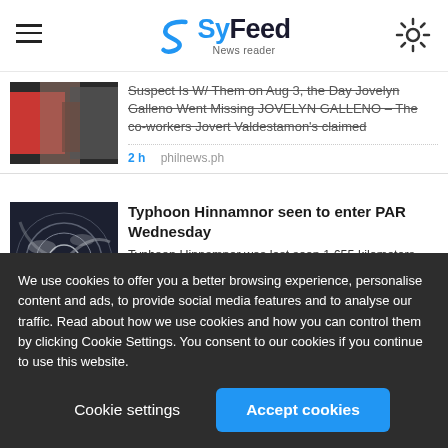SyFeed News reader
Suspect Is W/ Them on Aug 3, the Day Jovelyn Galleno Went Missing JOVELYN GALLENO – The co-workers Jovert Valdestamon's claimed
2 h   philnews.ph
Typhoon Hinnamnor seen to enter PAR Wednesday
Typhoon Hinnamnor was last seen 1,655 kilometers east northeast of Extreme Northern Luzon with peak winds of 165 kph near the center and gusts of up to 205 kph.
We use cookies to offer you a better browsing experience, personalise content and ads, to provide social media features and to analyse our traffic. Read about how we use cookies and how you can control them by clicking Cookie Settings. You consent to our cookies if you continue to use this website.
Cookie settings
Accept cookies